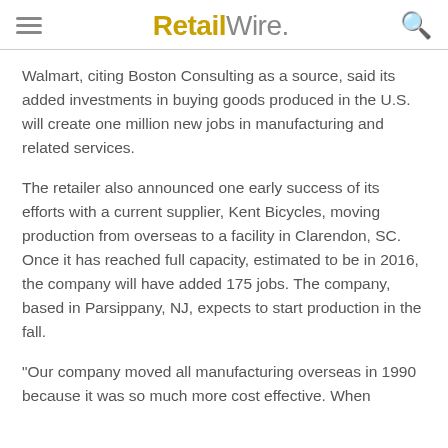RetailWire.
Walmart, citing Boston Consulting as a source, said its added investments in buying goods produced in the U.S. will create one million new jobs in manufacturing and related services.
The retailer also announced one early success of its efforts with a current supplier, Kent Bicycles, moving production from overseas to a facility in Clarendon, SC. Once it has reached full capacity, estimated to be in 2016, the company will have added 175 jobs. The company, based in Parsippany, NJ, expects to start production in the fall.
"Our company moved all manufacturing overseas in 1990 because it was so much more cost effective. When